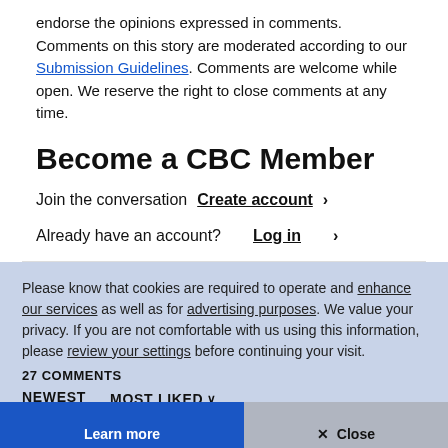endorse the opinions expressed in comments. Comments on this story are moderated according to our Submission Guidelines. Comments are welcome while open. We reserve the right to close comments at any time.
Become a CBC Member
Join the conversation  Create account  ›
Already have an account?  Log in  ›
Please know that cookies are required to operate and enhance our services as well as for advertising purposes. We value your privacy. If you are not comfortable with us using this information, please review your settings before continuing your visit.
27 COMMENTS
NEWEST   MOST LIKED ∨
Learn more
✕ Close
COMMENTING IS NOW CLOSED FOR THIS STORY